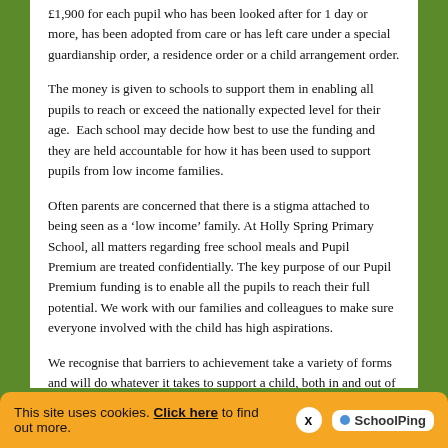£1,900 for each pupil who has been looked after for 1 day or more, has been adopted from care or has left care under a special guardianship order, a residence order or a child arrangement order.
The money is given to schools to support them in enabling all pupils to reach or exceed the nationally expected level for their age.  Each school may decide how best to use the funding and they are held accountable for how it has been used to support pupils from low income families.
Often parents are concerned that there is a stigma attached to being seen as a 'low income' family. At Holly Spring Primary School, all matters regarding free school meals and Pupil Premium are treated confidentially. The key purpose of our Pupil Premium funding is to enable all the pupils to reach their full potential. We work with our families and colleagues to make sure everyone involved with the child has high aspirations.
We recognise that barriers to achievement take a variety of forms and will do whatever it takes to support a child, both in and out of the classroom.  We use all our resources to ensure that every child has an equal opportunity to become an empowered learner.  In order to achieve this we offer our children a wide range of opportunities and we always make sure these are accessible for everyone.
This site uses cookies. Click here to find out more. [x] SchoolPing